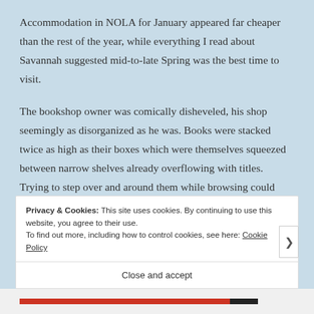Accommodation in NOLA for January appeared far cheaper than the rest of the year, while everything I read about Savannah suggested mid-to-late Spring was the best time to visit.
The bookshop owner was comically disheveled, his shop seemingly as disorganized as he was. Books were stacked twice as high as their boxes which were themselves squeezed between narrow shelves already overflowing with titles. Trying to step over and around them while browsing could have qualified as some kind of Olympic sport.
Privacy & Cookies: This site uses cookies. By continuing to use this website, you agree to their use.
To find out more, including how to control cookies, see here: Cookie Policy
Close and accept